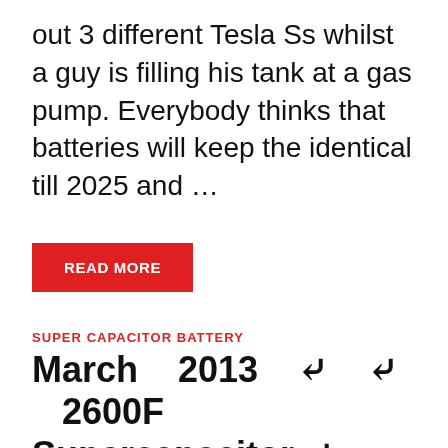out 3 different Tesla Ss whilst a guy is filling his tank at a gas pump. Everybody thinks that batteries will keep the identical till 2025 and …
READ MORE
SUPER CAPACITOR BATTERY
March 2013 ↲ ↲ 2600F Supercapacitor ↲
August 4, 2016  -  by Matthew Scott
Super Capacitor Battery The supercapacitor, also identified as ultracapacitor or double-layer capacitor, differs from a regular capacitor in that it has very high capacitance. When we are capable